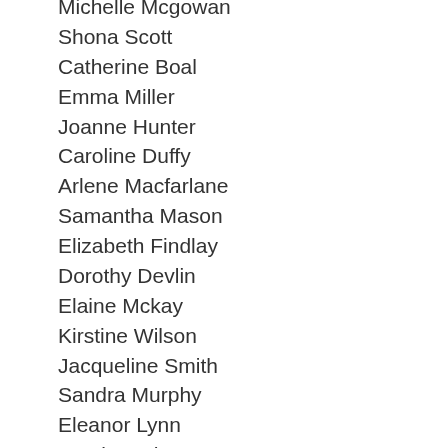Michelle Mcgowan
Shona Scott
Catherine Boal
Emma Miller
Joanne Hunter
Caroline Duffy
Arlene Macfarlane
Samantha Mason
Elizabeth Findlay
Dorothy Devlin
Elaine Mckay
Kirstine Wilson
Jacqueline Smith
Sandra Murphy
Eleanor Lynn
Jessica Whyte
Donna Maclean
Catherine Spink
Marion Shaw
Alison Doyle